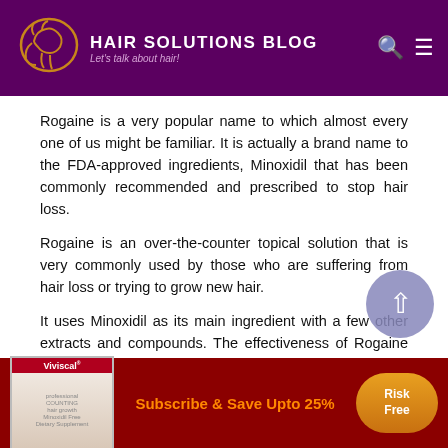HAIR SOLUTIONS BLOG — Let's talk about hair!
Rogaine is a very popular name to which almost every one of us might be familiar. It is actually a brand name to the FDA-approved ingredients, Minoxidil that has been commonly recommended and prescribed to stop hair loss.
Rogaine is an over-the-counter topical solution that is very commonly used by those who are suffering from hair loss or trying to grow new hair.
It uses Minoxidil as its main ingredient with a few other extracts and compounds. The effectiveness of Rogaine cannot be ignored as it is proven to help in ting new hair growth, promote hair density
Subscribe & Save Upto 25%  Risk Free